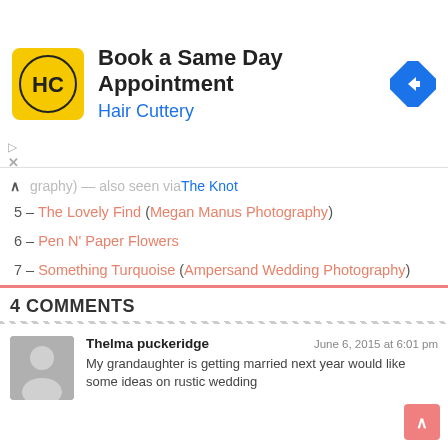[Figure (screenshot): Hair Cuttery advertisement banner: yellow logo with HC letters, text 'Book a Same Day Appointment' and 'Hair Cuttery' in blue, blue diamond navigation icon on right]
^ graphy) — also seen via The Knot
5 – The Lovely Find (Megan Manus Photography)
6 – Pen N' Paper Flowers
7 – Something Turquoise (Ampersand Wedding Photography)
8 – Wedding Party App (Studio 13 Designs)
9 – June Bug Weddings (Taylor Lord Photography)
10 – Savannah Smiled (Lisa Joy Photography)
4 COMMENTS
Thelma puckeridge — June 6, 2015 at 6:01 pm — My grandaughter is getting married next year would like some ideas on rustic wedding